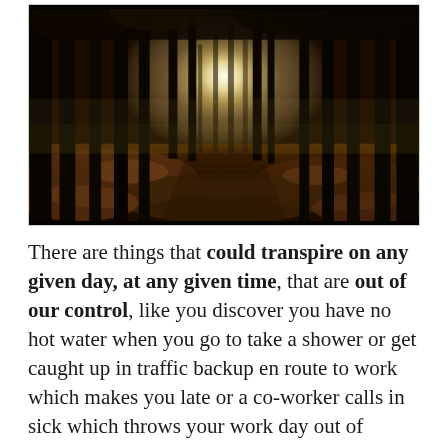[Figure (photo): A misty autumn forest with tall dark tree trunks, golden-green foggy light glowing from the center background, and a leaf-covered forest floor path leading into the distance.]
There are things that could transpire on any given day, at any given time, that are out of our control, like you discover you have no hot water when you go to take a shower or get caught up in traffic backup en route to work which makes you late or a co-worker calls in sick which throws your work day out of